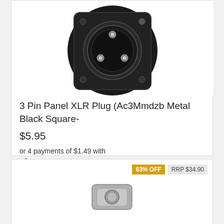[Figure (photo): Black 3-pin XLR panel mount plug connector photographed from front, showing three gold/silver pins arranged in triangular pattern inside circular housing with square mounting flange. Black metal body.]
3 Pin Panel XLR Plug (Ac3Mmdzb Metal Black Square-
$5.95
or 4 payments of $1.49 with afterpay Learn more
Add to Cart
63% OFF  RRP $34.90
[Figure (photo): Silver/chrome colored XLR connector component shown partially at bottom of page.]